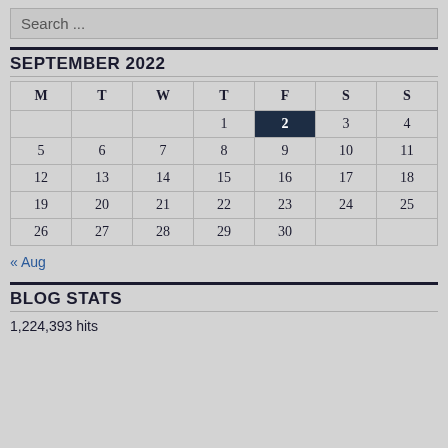Search ...
SEPTEMBER 2022
| M | T | W | T | F | S | S |
| --- | --- | --- | --- | --- | --- | --- |
|  |  |  | 1 | 2 | 3 | 4 |
| 5 | 6 | 7 | 8 | 9 | 10 | 11 |
| 12 | 13 | 14 | 15 | 16 | 17 | 18 |
| 19 | 20 | 21 | 22 | 23 | 24 | 25 |
| 26 | 27 | 28 | 29 | 30 |  |  |
« Aug
BLOG STATS
1,224,393 hits